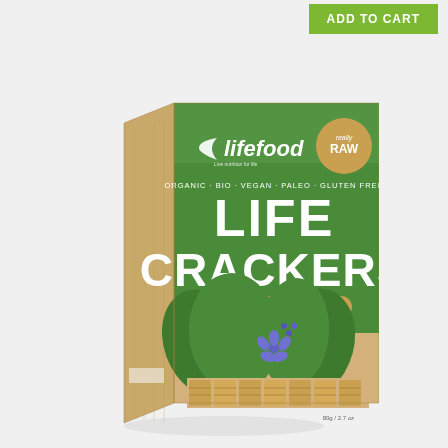ADD TO CART
[Figure (photo): Product photo of Lifefood Life Crackers Sauerkraut Chia flavor. A cardboard box with green and tan branding showing the lifefood logo with 'really RAW' badge, text reading ORGANIC · BIO · VEGAN · PALEO · GLUTEN FREE, LIFE CRACKERS in large white letters, SAUERKRAUT CHIA flavor label, decorative green leaves and blue flowers, and visible crackers at the bottom. Net weight 80g / 2.7 oz.]